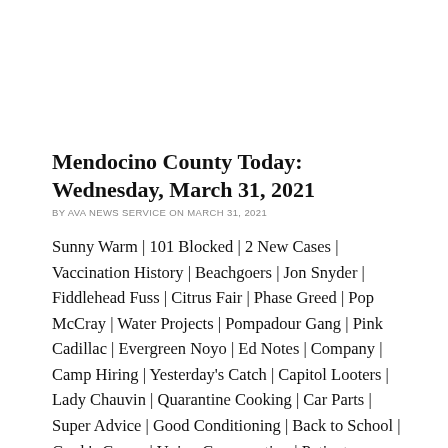Mendocino County Today: Wednesday, March 31, 2021
BY AVA NEWS SERVICE ON MARCH 31, 2021
Sunny Warm | 101 Blocked | 2 New Cases | Vaccination History | Beachgoers | Jon Snyder | Fiddlehead Fuss | Citrus Fair | Phase Greed | Pop McCray | Water Projects | Pompadour Gang | Pink Cadillac | Evergreen Noyo | Ed Notes | Company | Camp Hiring | Yesterday's Catch | Capitol Looters | Lady Chauvin | Quarantine Cooking | Car Parts | Super Advice | Good Conditioning | Back to School | Gogh's Crows | Union Conversation | Patient Ingredient | Friendly Islander | Capitalist Class | Dishwashing | Clampdown Mania